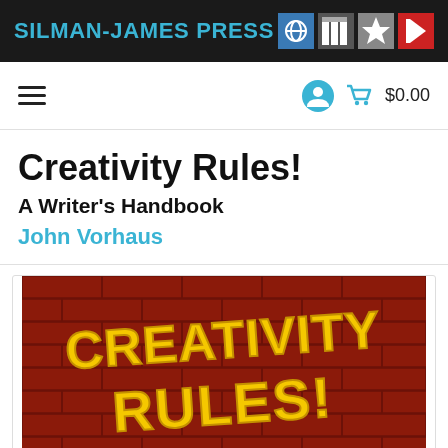SILMAN-JAMES PRESS
≡  $0.00
Creativity Rules!
A Writer's Handbook
John Vorhaus
[Figure (photo): Book cover of 'Creativity Rules!' showing yellow graffiti-style text reading 'CREATIVITY RULES!' painted on a red brick wall background.]